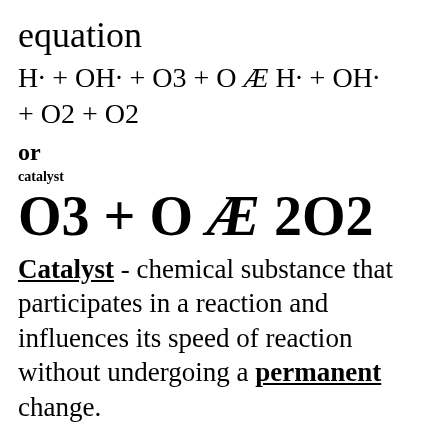equation
or
catalyst
Catalyst - chemical substance that participates in a reaction and influences its speed of reaction without undergoing a permanent change.